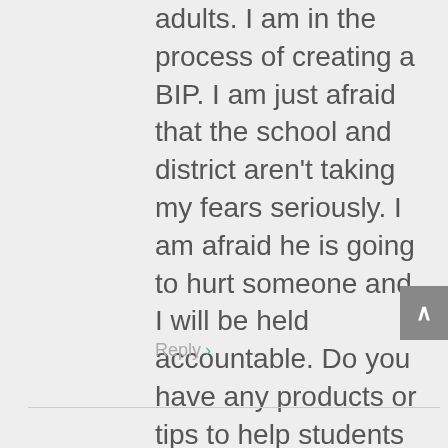adults. I am in the process of creating a BIP. I am just afraid that the school and district aren't taking my fears seriously. I am afraid he is going to hurt someone and I will be held accountable. Do you have any products or tips to help students with violent behavior. I have purchased your contingency maps. Thanks
Reply ›